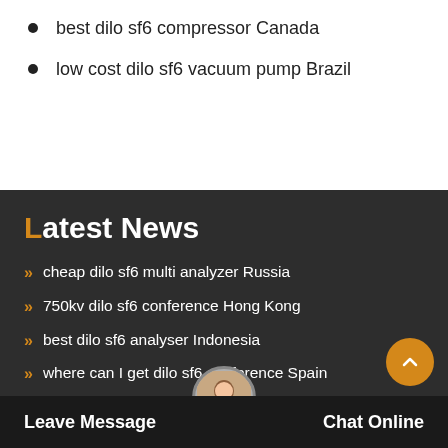best dilo sf6 compressor Canada
low cost dilo sf6 vacuum pump Brazil
Latest News
cheap dilo sf6 multi analyzer Russia
750kv dilo sf6 conference Hong Kong
best dilo sf6 analyser Indonesia
where can I get dilo sf6 conference Spain
new type dilo sf6 gas refilling kit Ukraine
iso sulphur hexafluoride buy
Safe and efficient dilo dilo Italy
Leave Message
Chat Online